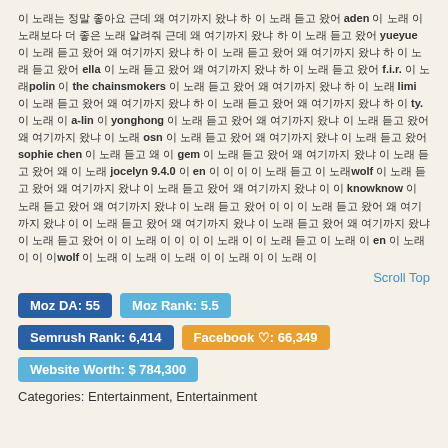이 노래는 정말 좋아요 근데 왜 여기까지 왔냐 하 이 노래 듣고 왔어 aden 이 노래 이 노래보다 더 좋은 노래 알려줘 근데 왜 여기까지 왔냐 하 이 노래 듣고 왔어 yueyue 이 노래 듣고 왔어 왜 여기까지 왔냐 하 이 노래 듣고 왔어 왜 여기까지 왔냐 하 이 노래 듣고 왔어 ella 이 노래 듣고 왔어 왜 여기까지 왔냐 하 이 노래 듣고 왔어 f.i.r. 이 노래polin 이 the chainsmokers 이 노래 듣고 왔어 왜 여기까지 왔냐 하 이 노래 limi 이 노래 듣고 왔어 왜 여기까지 왔냐 하 이 노래 듣고 왔어 왜 여기까지 왔냐 하 이 ty. 이 노래 이 a-lin 이 yonghong 이 노래 듣고 왔어 왜 여기까지 왔냐 이 노래 듣고 왔어 왜 여기까지 왔냐 이 노래 osn 이 노래 듣고 왔어 왜 여기까지 왔냐 이 노래 듣고 왔어 sophie chen 이 노래 듣고 왜 이 gem 이 노래 듣고 왔어 왜 여기까지 왔냐 이 노래 듣고 왔어 왜 이 노래 jocelyn 9.4.0 이 en 이 이 이 이 노래 듣고 이 노래wolf 이 노래 듣고 왔어 왜 여기까지 왔냐 이 노래 듣고 왔어 왜 여기까지 왔냐 이 이 knowknow 이 노래 듣고 왔어 왜 여기까지 왔냐 이 노래 듣고 왔어 이 이 이 노래 듣고 왔어 왜 여기까지 왔냐 이 이 노래 듣고 왔어 왜 여기까지 왔냐 이 노래 듣고 왔어 왜 여기까지 왔냐 이 노래 듣고 왔어 이 이 노래 이 이 이 이 노래 이 이 노래 듣고 이 노래 이 en 이 노래 이 이 이wolf 이 노래 이 노래 이 노래 이 이 노래 이 이 노래 이
Scroll Top
Moz DA: 55
Moz Rank: 5.5
Semrush Rank: 6,414
Facebook ♡: 66,349
Website Worth: $ 784,300
Categories: Entertainment, Entertainment